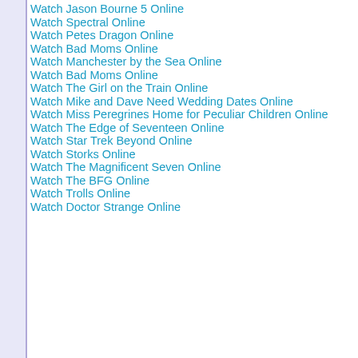Watch Jason Bourne 5 Online
Watch Spectral Online
Watch Petes Dragon Online
Watch Bad Moms Online
Watch Manchester by the Sea Online
Watch Bad Moms Online
Watch The Girl on the Train Online
Watch Mike and Dave Need Wedding Dates Online
Watch Miss Peregrines Home for Peculiar Children Online
Watch The Edge of Seventeen Online
Watch Star Trek Beyond Online
Watch Storks Online
Watch The Magnificent Seven Online
Watch The BFG Online
Watch Trolls Online
Watch Doctor Strange Online